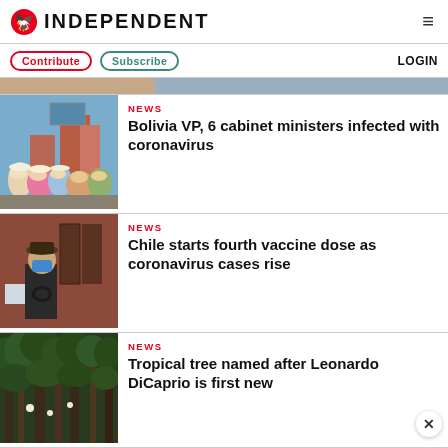INDEPENDENT
Contribute | Subscribe | LOGIN
[Figure (photo): Partial top image strip]
[Figure (photo): Crowd of people in traditional Bolivian attire at an outdoor event with a billboard in the background]
NEWS
Bolivia VP, 6 cabinet ministers infected with coronavirus
[Figure (photo): Person wearing a blue face mask and hat, seated outdoors]
NEWS
Chile starts fourth vaccine dose as coronavirus cases rise
[Figure (photo): Dense tropical forest/jungle scene]
NEWS
Tropical tree named after Leonardo DiCaprio is first new